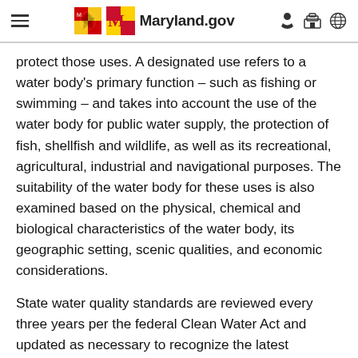Maryland.gov
protect those uses. A designated use refers to a water body's primary function – such as fishing or swimming – and takes into account the use of the water body for public water supply, the protection of fish, shellfish and wildlife, as well as its recreational, agricultural, industrial and navigational purposes. The suitability of the water body for these uses is also examined based on the physical, chemical and biological characteristics of the water body, its geographic setting, scenic qualities, and economic considerations.
State water quality standards are reviewed every three years per the federal Clean Water Act and updated as necessary to recognize the latest research science and technological advancements.